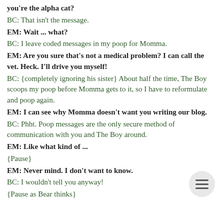you're the alpha cat?
BC: That isn't the message.
EM: Wait ... what?
BC: I leave coded messages in my poop for Momma.
EM: Are you sure that's not a medical problem? I can call the vet. Heck. I'll drive you myself!
BC: {completely ignoring his sister} About half the time, The Boy scoops my poop before Momma gets to it, so I have to reformulate and poop again.
EM: I can see why Momma doesn't want you writing our blog.
BC: Phht. Poop messages are the only secure method of communication with you and The Boy around.
EM: Like what kind of ...
{Pause}
EM: Never mind. I don't want to know.
BC: I wouldn't tell you anyway!
{Pause as Bear thinks}